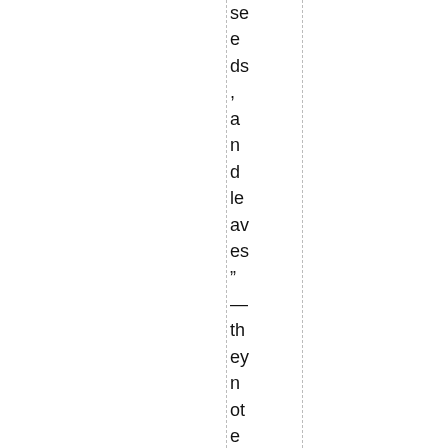seeds, and leaves" — they note that "[n]ode deaths from mov